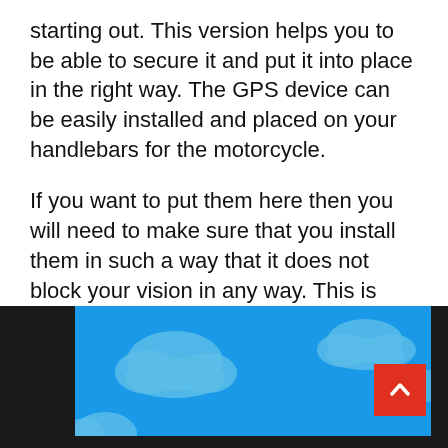starting out. This version helps you to be able to secure it and put it into place in the right way. The GPS device can be easily installed and placed on your handlebars for the motorcycle.
If you want to put them here then you will need to make sure that you install them in such a way that it does not block your vision in any way. This is important to maintain safety when you are driving
[Figure (illustration): Blue sky with white clouds, browser scroll-to-top button (red, with upward arrow) in lower right corner, overlaid on dark browser chrome.]